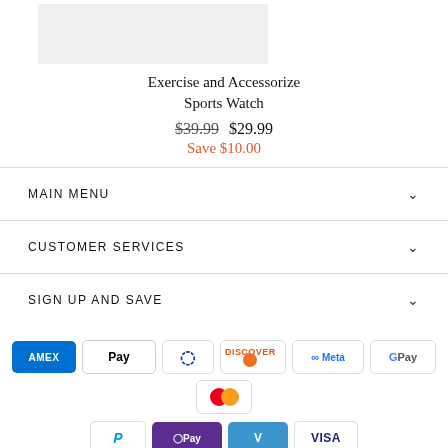[Figure (photo): Product image placeholder — light gray rectangle]
Exercise and Accessorize Sports Watch
$39.99  $29.99
Save $10.00
MAIN MENU
CUSTOMER SERVICES
SIGN UP AND SAVE
[Figure (other): Payment method icons: American Express, Apple Pay, Diners Club, Discover, Meta Pay, Google Pay, Mastercard, PayPal, OPay, Venmo, Visa]